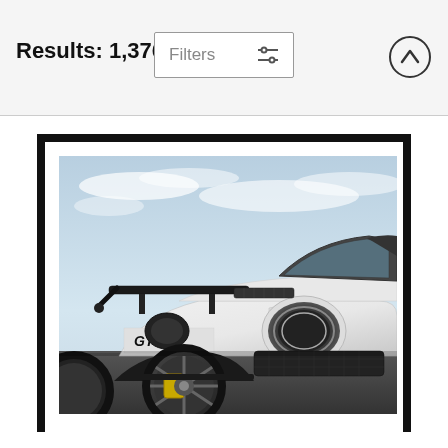Results: 1,376
[Figure (photo): White Porsche 911 GT3 RS sports car photographed from the front-left angle, showing the distinctive headlights, large rear wing, and GT3 RS decal on the door, with yellow brake calipers visible, set against a partly cloudy sky. The photo is displayed inside a black picture frame with white matting.]